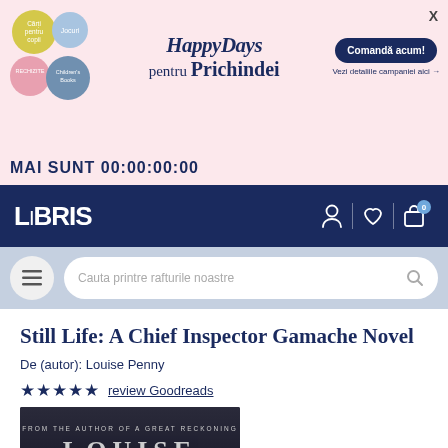[Figure (screenshot): Happy Days pentru Prichindei promotional banner with colorful circles for Cărți pentru copii, Jocuri, Rechizite, Children's Books. Includes Comandă acum button and countdown timer.]
MAI SUNT 00:00:00:00
[Figure (logo): LIBRIS logo in white on dark navy background, with user, heart, and bag icons]
[Figure (screenshot): Search bar with hamburger menu button and placeholder text: Cauta printre rafturile noastre]
Still Life: A Chief Inspector Gamache Novel
De (autor): Louise Penny
★★★★★ review Goodreads
[Figure (photo): Book cover showing FROM THE AUTHOR OF A GREAT RECKONING text and LOUISE in large letters on a dark background]